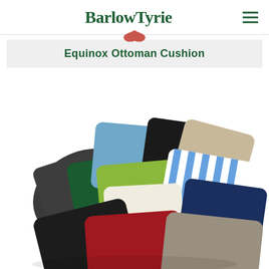BarlowTyrie
Equinox Ottoman Cushion
[Figure (photo): A collection of square cushions in various colors arranged in a pile: gray, charcoal, dark green, black, blue, olive green, white/striped, red/crimson, navy, tan/beige, taupe/gray. Multiple colors including a blue-and-white striped cushion visible among solid colors.]